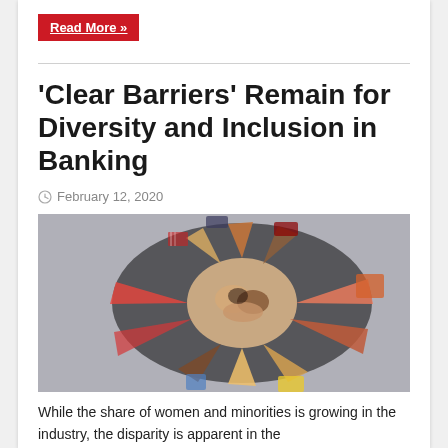Read More »
'Clear Barriers' Remain for Diversity and Inclusion in Banking
February 12, 2020
[Figure (photo): Overhead view of diverse group of people putting hands together in a circle, showing varied skin tones and clothing]
While the share of women and minorities is growing in the industry, the disparity is apparent in the